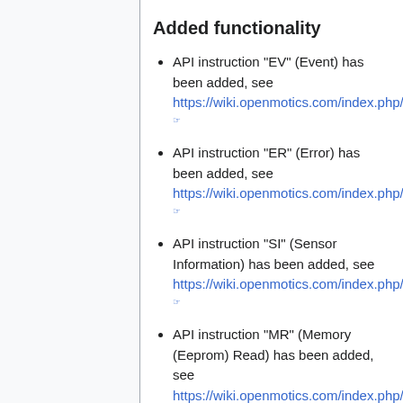Added functionality
API instruction "EV" (Event) has been added, see https://wiki.openmotics.com/index.php/API_Reference_Guide_AIO
API instruction "ER" (Error) has been added, see https://wiki.openmotics.com/index.php/API_Reference_Guide_AIO
API instruction "SI" (Sensor Information) has been added, see https://wiki.openmotics.com/index.php/API_Reference_Guide_AIO
API instruction "MR" (Memory (Eeprom) Read) has been added, see https://wiki.openmotics.com/index.php/API_Reference_Guide_AIO
API instruction "MW" (Memory